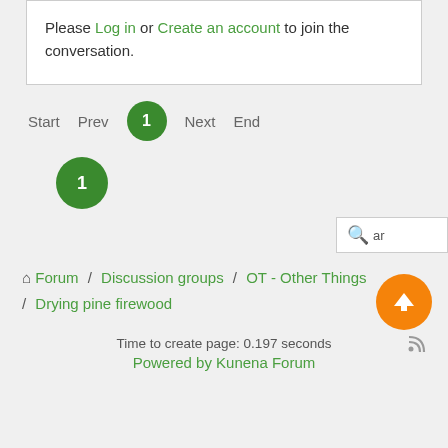Please Log in or Create an account to join the conversation.
Start  Prev  1  Next  End
1
Forum / Discussion groups / OT - Other Things / Drying pine firewood
Time to create page: 0.197 seconds
Powered by Kunena Forum